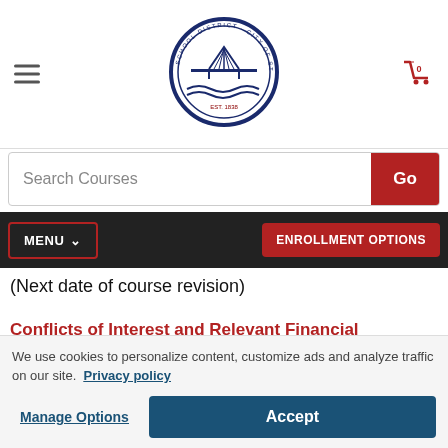[Figure (logo): School District of the City of St. Louis circular seal/logo with bridge illustration, navy border, est. 1838]
Search Courses
Go
MENU ▾
ENROLLMENT OPTIONS
(Next date of course revision)
Conflicts of Interest and Relevant Financial Relationships: The authors/planning committee members have no conflicts of interest or relevant
We use cookies to personalize content, customize ads and analyze traffic on our site.  Privacy policy
Manage Options
Accept